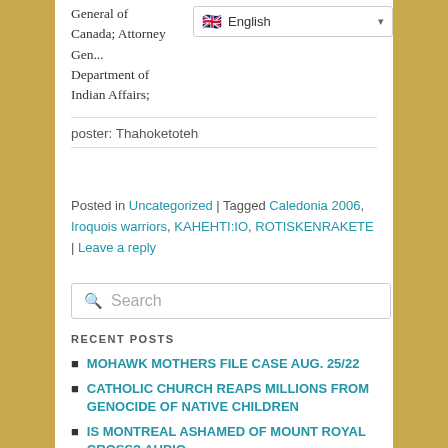General of Canada; Attorney General of Canada; Department of Indian Affairs;
poster: Thahoketoteh
Posted in Uncategorized | Tagged Caledonia 2006, Iroquois warriors, KAHEHTI:IO, ROTISKENRAKETE | Leave a reply
Search
RECENT POSTS
MOHAWK MOTHERS FILE CASE AUG. 25/22
CATHOLIC CHURCH REAPS MILLIONS FROM GENOCIDE OF NATIVE CHILDREN
IS MONTREAL ASHAMED OF MOUNT ROYAL CROSS? Audio
WHEN THEY FIGHT DIRTY Audio